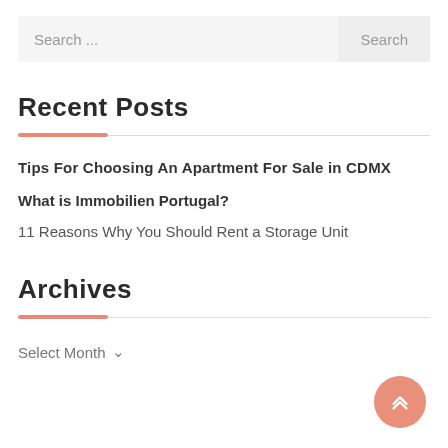Search ...
Search
Recent Posts
Tips For Choosing An Apartment For Sale in CDMX
What is Immobilien Portugal?
11 Reasons Why You Should Rent a Storage Unit
Archives
Select Month